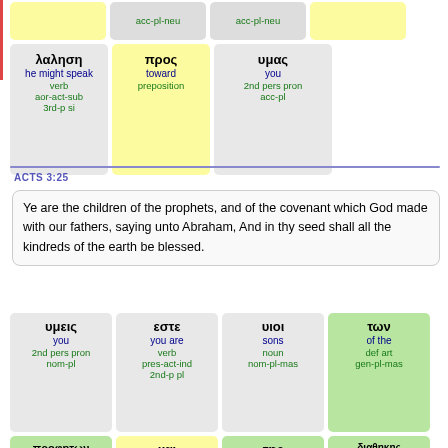| acc-pl-neu | acc-pl-neu |
| λαλησῃ / he might speak / verb / aor-act-sub / 3rd-p si | προς / toward / preposition | υμας / you / 2nd pers pron / acc-pl |
ACTS 3:25
Ye are the children of the prophets, and of the covenant which God made with our fathers, saying unto Abraham, And in thy seed shall all the kindreds of the earth be blessed.
| υμεις / you / 2nd pers pron / nom-pl | εστε / you are / verb / pres-act-ind / 2nd-p pl | υιοι / sons / noun / nom-pl-mas | των / of the / def art / gen-pl-mas |
| προφητων / of prophets / noun / gen-pl-mas | και / and / conjunction | της / of the / def art / gen-si-fem | διαθηκης / of contract / noun / gen-si-fem |